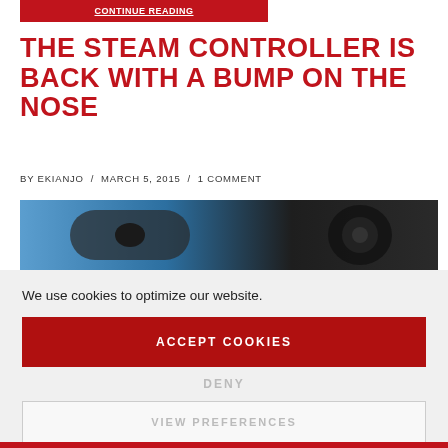[Figure (screenshot): Red 'Continue Reading' button at top of page]
THE STEAM CONTROLLER IS BACK WITH A BUMP ON THE NOSE
BY EKIANJO / MARCH 5, 2015 / 1 COMMENT
[Figure (photo): Steam Controller device photo with blue and dark background]
We use cookies to optimize our website.
ACCEPT COOKIES
DENY
VIEW PREFERENCES
Cookie Policy   Privacy Policy